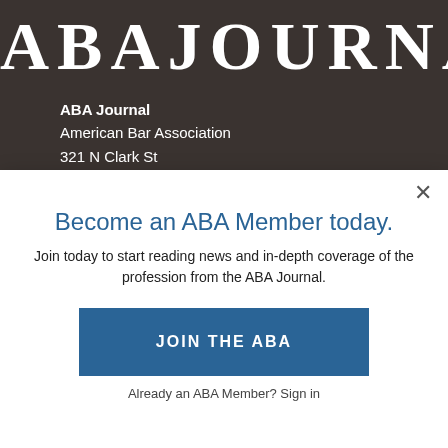[Figure (logo): ABA Journal masthead logo in white serif letters on dark brown background]
ABA Journal
American Bar Association
321 N Clark St
Chicago, IL 60654-7598
800-285-2221
Become an ABA Member today.
Join today to start reading news and in-depth coverage of the profession from the ABA Journal.
JOIN THE ABA
Already an ABA Member? Sign in
Yes
Code of Conduct
Contests